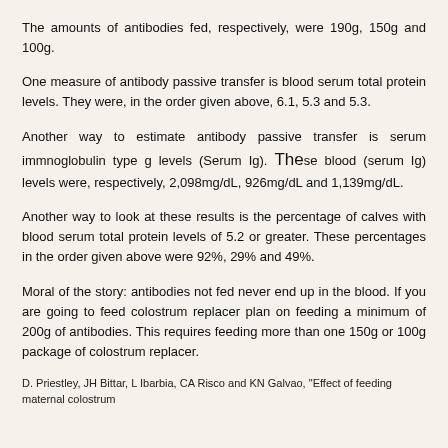The amounts of antibodies fed, respectively, were 190g, 150g and 100g.
One measure of antibody passive transfer is blood serum total protein levels. They were, in the order given above, 6.1, 5.3 and 5.3.
Another way to estimate antibody passive transfer is serum immnoglobulin type g levels (Serum Ig). These blood (serum Ig) levels were, respectively, 2,098mg/dL, 926mg/dL and 1,139mg/dL.
Another way to look at these results is the percentage of calves with blood serum total protein levels of 5.2 or greater. These percentages in the order given above were 92%, 29% and 49%.
Moral of the story: antibodies not fed never end up in the blood. If you are going to feed colostrum replacer plan on feeding a minimum of 200g of antibodies. This requires feeding more than one 150g or 100g package of colostrum replacer.
D. Priestley, JH Bittar, L Ibarbia, CA Risco and KN Galvao, "Effect of feeding maternal colostrum